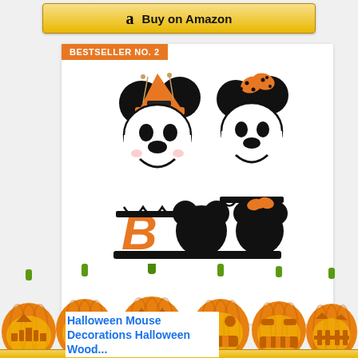[Figure (screenshot): Amazon 'Buy on Amazon' button with Amazon logo]
BESTSELLER NO. 2
[Figure (photo): Halloween Mouse Decorations: two ghost figures with Mickey/Minnie ears, one with witch hat and one with polka-dot bow, plus 'BOO' word sign in orange and black wood cutout]
Halloween Mouse Decorations Halloween Wood...
[Figure (illustration): Row of six glowing jack-o-lantern pumpkins with different carved face expressions, orange with green stems]